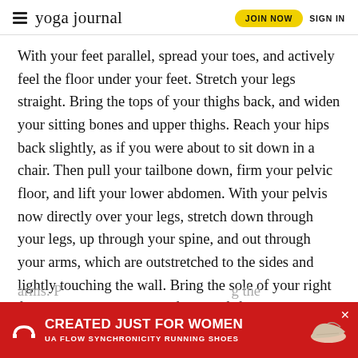yoga journal | JOIN NOW | SIGN IN
With your feet parallel, spread your toes, and actively feel the floor under your feet. Stretch your legs straight. Bring the tops of your thighs back, and widen your sitting bones and upper thighs. Reach your hips back slightly, as if you were about to sit down in a chair. Then pull your tailbone down, firm your pelvic floor, and lift your lower abdomen. With your pelvis now directly over your legs, stretch down through your legs, up through your spine, and out through your arms, which are outstretched to the sides and lightly touching the wall. Bring the sole of your right foot onto the inner ankle of your left foot, and press it in firmly. You can keep your toes touching the floor lightly if you need to, or bring the entire right foot off the floor. Vigorously stretch your standing leg, your spine, and your arms. [partially obscured] ...g the top foo... ...er
[Figure (infographic): Under Armour red advertisement banner: 'CREATED JUST FOR WOMEN / UA FLOW SYNCHRONICITY RUNNING SHOES' with UA logo and shoe image]